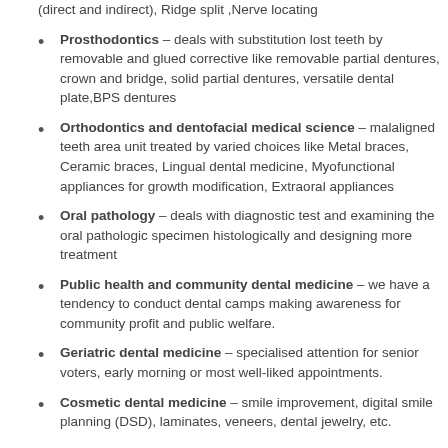(direct and indirect), Ridge split ,Nerve locating
Prosthodontics – deals with substitution lost teeth by removable and glued corrective like removable partial dentures, crown and bridge, solid partial dentures, versatile dental plate,BPS dentures
Orthodontics and dentofacial medical science – malaligned teeth area unit treated by varied choices like Metal braces, Ceramic braces, Lingual dental medicine, Myofunctional appliances for growth modification, Extraoral appliances
Oral pathology – deals with diagnostic test and examining the oral pathologic specimen histologically and designing more treatment
Public health and community dental medicine – we have a tendency to conduct dental camps making awareness for community profit and public welfare.
Geriatric dental medicine – specialised attention for senior voters, early morning or most well-liked appointments.
Cosmetic dental medicine – smile improvement, digital smile planning (DSD), laminates, veneers, dental jewelry, etc.